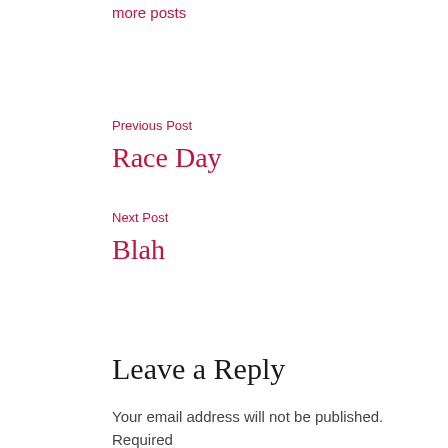more posts
Previous Post
Race Day
Next Post
Blah
Leave a Reply
Your email address will not be published. Required